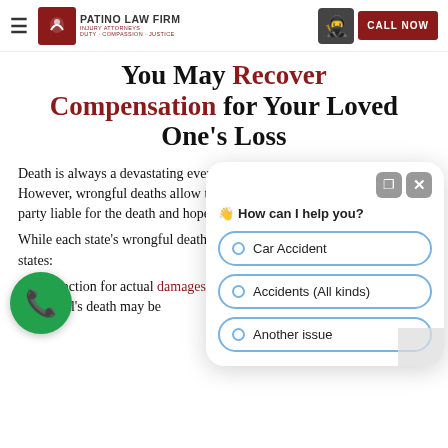Patino Law Firm — Injury Attorneys — Duty Compassion Justice — CALL NOW
You May Recover Compensation for Your Loved One's Loss
Death is always a devastating event for family members and loved ones. However, wrongful deaths allow those loved ones to find the negligent party liable for the death and hopefully deter future wrongful deaths.
While each state's wrongful death laws differ, Texas law specifically states:
"(a) An action for actual damages arising from a injury that causes an individual's death may be
[Figure (screenshot): Chat widget overlay with greeting 'How can I help you?' and three radio button options: Car Accident, Accidents (All kinds), Another issue]